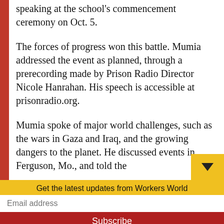speaking at the school's commencement ceremony on Oct. 5.
The forces of progress won this battle. Mumia addressed the event as planned, through a prerecording made by Prison Radio Director Nicole Hanrahan. His speech is accessible at prisonradio.org.
Mumia spoke of major world challenges, such as the wars in Gaza and Iraq, and the growing dangers to the planet. He discussed events in Ferguson, Mo., and told the
Get the latest updates from Workers World
Email address
Subscribe